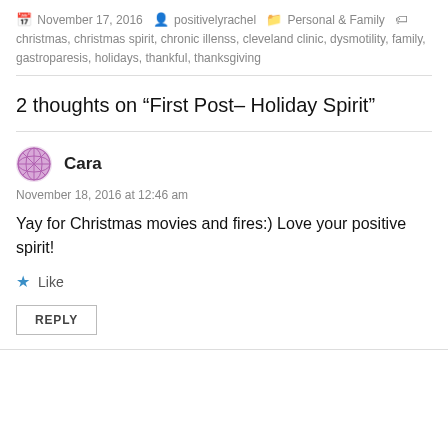November 17, 2016  positivelyrachel  Personal & Family  christmas, christmas spirit, chronic illenss, cleveland clinic, dysmotility, family, gastroparesis, holidays, thankful, thanksgiving
2 thoughts on “First Post– Holiday Spirit”
Cara
November 18, 2016 at 12:46 am
Yay for Christmas movies and fires:) Love your positive spirit!
Like
REPLY